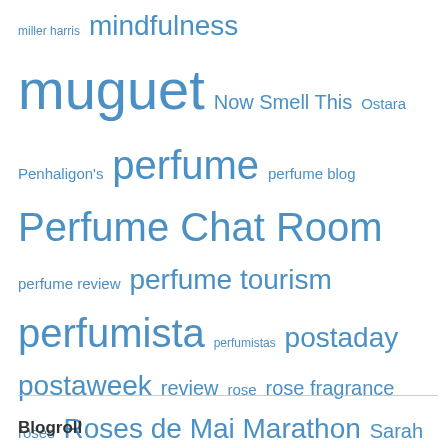miller harris mindfulness muguet Now Smell This Ostara Penhaligon's perfume perfume blog Perfume Chat Room perfume review perfume tourism perfumista perfumistas postaday postaweek review rose rose fragrance roses Roses de Mai Marathon Sarah McCartney Scented Advent Scent Sample Sunday Scents and Sensibilities Scent Semantics Serenity Now St. Clair Scents Tania Sanchez three blessings Thunking Thursday unisex unisex fragrance what went well writing101
Blogroll